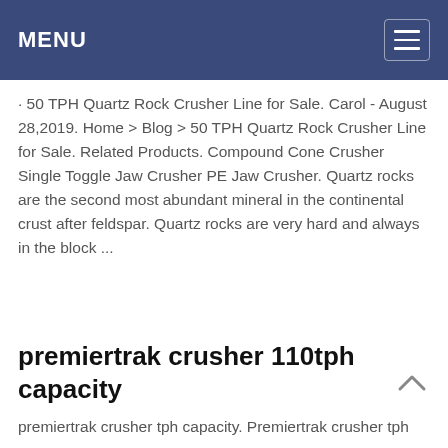MENU
· 50 TPH Quartz Rock Crusher Line for Sale. Carol - August 28,2019. Home > Blog > 50 TPH Quartz Rock Crusher Line for Sale. Related Products. Compound Cone Crusher Single Toggle Jaw Crusher PE Jaw Crusher. Quartz rocks are the second most abundant mineral in the continental crust after feldspar. Quartz rocks are very hard and always in the block ...
premiertrak crusher 110tph capacity
premiertrak crusher tph capacity. Premiertrak crusher tph